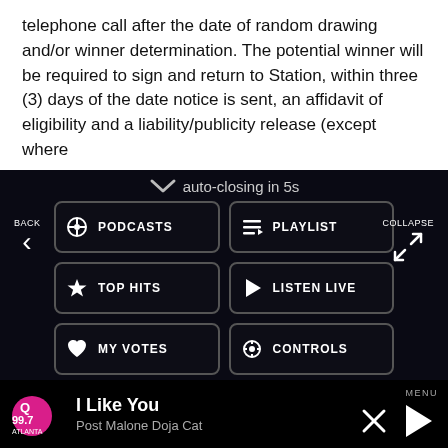telephone call after the date of random drawing and/or winner determination. The potential winner will be required to sign and return to Station, within three (3) days of the date notice is sent, an affidavit of eligibility and a liability/publicity release (except where
auto-closing in 5s
[Figure (screenshot): Navigation menu overlay with buttons: PODCASTS, PLAYLIST, TOP HITS, LISTEN LIVE, MY VOTES, CONTROLS, Data opt-out toggle, and bottom player bar showing I Like You by Post Malone Doja Cat on Q99.7]
BACK
COLLAPSE
PODCASTS
PLAYLIST
TOP HITS
LISTEN LIVE
MY VOTES
CONTROLS
Data opt-out
I Like You
Post Malone Doja Cat
MENU